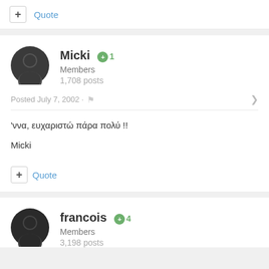+ Quote
Micki +1 Members 1,708 posts
Posted July 7, 2002
'ννα, ευχαριστώ πάρα πολύ !!

Micki
+ Quote
francois +4 Members 3,198 posts